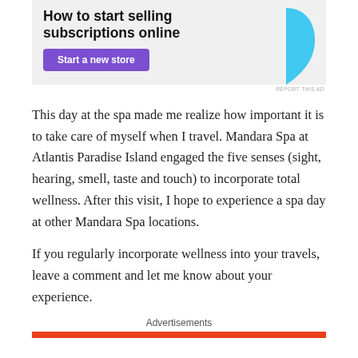[Figure (screenshot): Advertisement banner with headline 'How to start selling subscriptions online', a purple 'Start a new store' button, and a blue decorative graphic shape on the right, on a light grey background.]
REPORT THIS AD
This day at the spa made me realize how important it is to take care of myself when I travel. Mandara Spa at Atlantis Paradise Island engaged the five senses (sight, hearing, smell, taste and touch) to incorporate total wellness. After this visit, I hope to experience a spa day at other Mandara Spa locations.
If you regularly incorporate wellness into your travels, leave a comment and let me know about your experience.
Advertisements